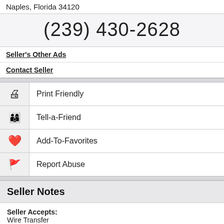Naples, Florida 34120
(239) 430-2628
Seller's Other Ads
Contact Seller
Print Friendly
Tell-a-Friend
Add-To-Favorites
Report Abuse
Seller Notes
Seller Accepts:
Wire Transfer
Popularity
Vote Now   Show Votes